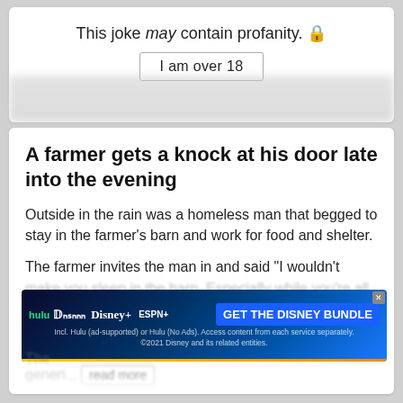This joke may contain profanity. 🔒
I am over 18
A farmer gets a knock at his door late into the evening
Outside in the rain was a homeless man that begged to stay in the farmer's barn and work for food and shelter.
The farmer invites the man in and said "I wouldn't make you sleep in the barn. Especially while you're all wet. Come inside."
[Figure (screenshot): Hulu Disney+ ESPN+ GET THE DISNEY BUNDLE advertisement banner. Incl. Hulu (ad-supported) or Hulu (No Ads). Access content from each service separately. ©2021 Disney and its related entities.]
The ... generi... read more